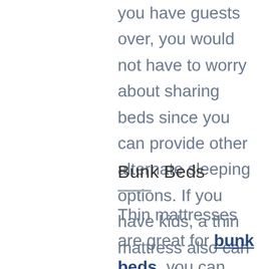you have guests over, you would not have to worry about sharing beds since you can provide other alternate sleeping options. If you have kids, a thin mattress also can be used as a nap time mattress and can be easily put away when not in use.
Bunk Beds
Thin mattresses are great for bunk beds, you can make the most of the space you can get